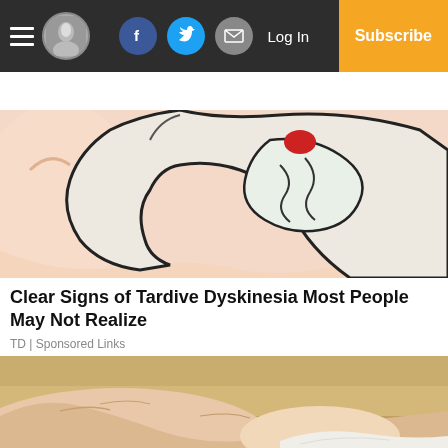Log In | Subscribe
[Figure (illustration): Cartoon illustration of a hand/mouth showing tongue movement, related to Tardive Dyskinesia]
Clear Signs of Tardive Dyskinesia Most People May Not Realize
TD | Sponsored Links
[Figure (photo): Close-up photo of a person's foot/ankle, skin detail visible against a light background]